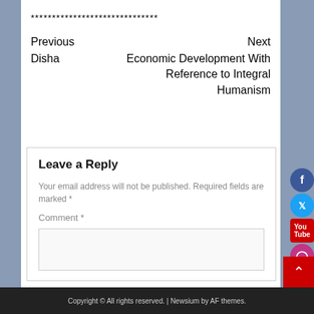******************************
Previous
Disha
Next
Economic Development With Reference to Integral Humanism
Leave a Reply
Your email address will not be published. Required fields are marked *
Comment *
Copyright © All rights reserved. | Newsium by AF themes.